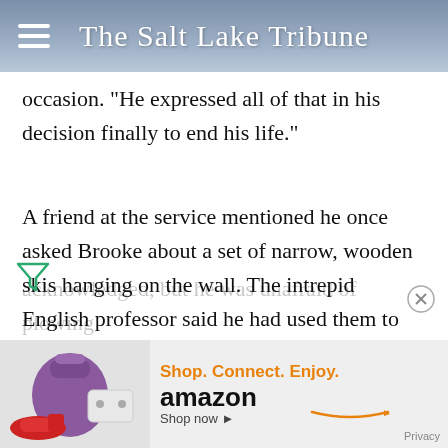The Salt Lake Tribune
occasion. "He expressed all of that in his decision finally to end his life."
A friend at the service mentioned he once asked Brooke about a set of narrow, wooden skis hanging on the wall. The intrepid English professor said he had used them to ski the Wasatch Mountains' "Little Matterhorn," a popular yet arduous backcountry destination.
[Figure (other): Amazon advertisement banner with product images and text: Shop. Connect. Enjoy. Shop now. Amazon logo with smile.]
acknowledged, but he was unafraid of plowing